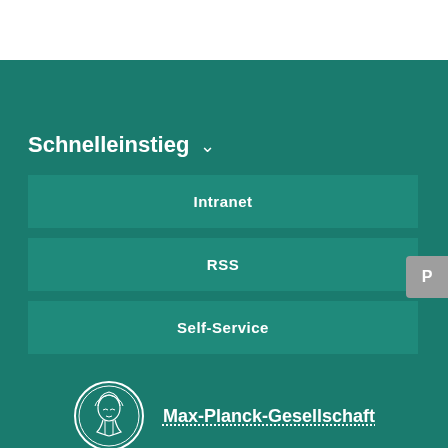Schnelleinstieg ∨
Intranet
RSS
Self-Service
[Figure (logo): Max-Planck-Gesellschaft circular logo with Minerva figure]
Max-Planck-Gesellschaft
Impressum
Datenschutzhinweis
© 2022, MPI für Polymerforschung